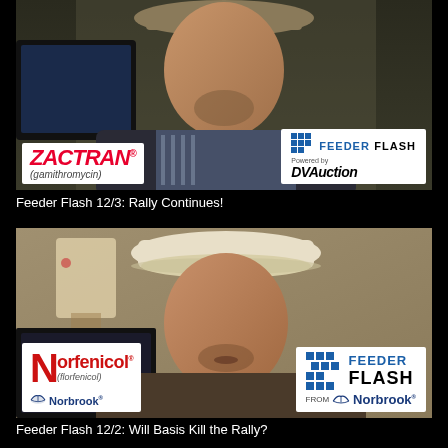[Figure (screenshot): Video thumbnail showing a man in a cowboy hat against a dark background. Bottom-left overlay shows Zactran (gamithromycin) sponsor logo. Bottom-right overlay shows Feeder Flash powered by DVAuction logo.]
Feeder Flash 12/3: Rally Continues!
[Figure (screenshot): Video thumbnail showing a man in a white cowboy hat against a beige/tan background. Bottom-left overlay shows Norfenicol (florfenicol) by Norbrook sponsor logo. Bottom-right overlay shows Feeder Flash from Norbrook logo.]
Feeder Flash 12/2: Will Basis Kill the Rally?